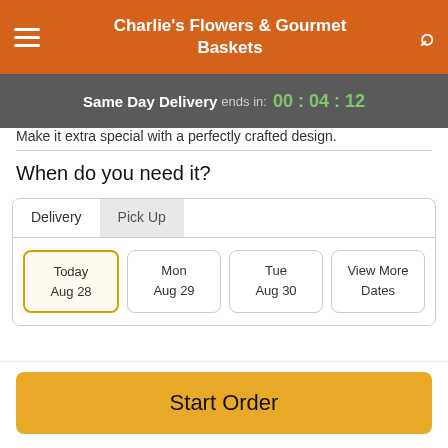Charlie's Flowers & Gourmet Baskets
Same Day Delivery ends in: 00 : 04 : 12
Make it extra special with a perfectly crafted design.
When do you need it?
Delivery | Pick Up
Today Aug 28 | Mon Aug 29 | Tue Aug 30 | View More Dates
Guaranteed SAFE Checkout
Start Order